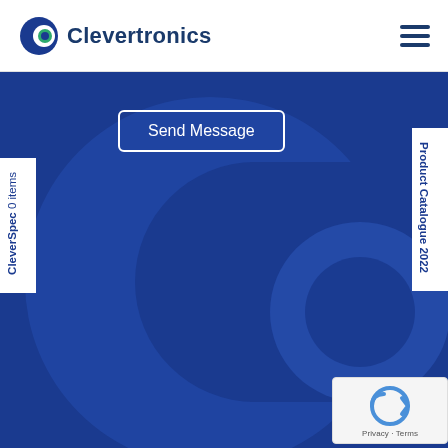Clevertronics
[Figure (logo): Clevertronics logo with Co icon and company name in navy blue]
[Figure (illustration): Large Co watermark letter/logo in medium blue on dark blue background]
Send Message
CleverSpec 0 items
Product Catalogue 2022
[Figure (other): Google reCAPTCHA badge with Privacy and Terms links]